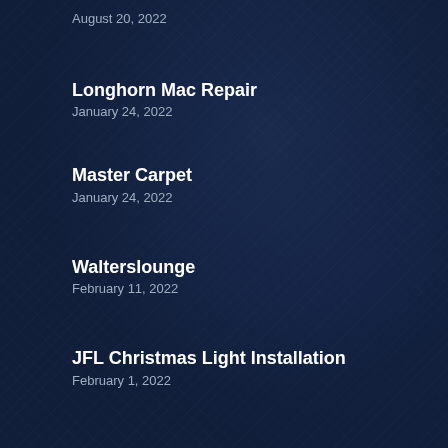August 20, 2022
Longhorn Mac Repair
January 24, 2022
Master Carpet
January 24, 2022
Walterslounge
February 11, 2022
JFL Christmas Light Installation
February 1, 2022
Ranger Guard – Louisiana
June 13, 2022